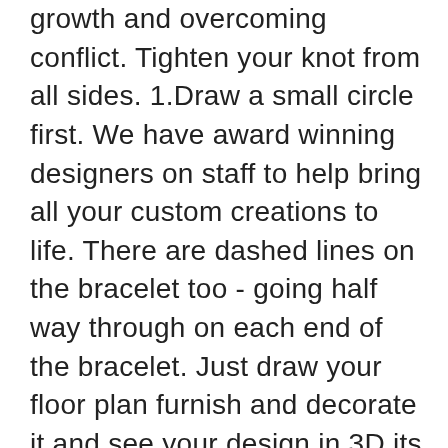growth and overcoming conflict. Tighten your knot from all sides. 1.Draw a small circle first. We have award winning designers on staff to help bring all your custom creations to life. There are dashed lines on the bracelet too - going half way through on each end of the bracelet. Just draw your floor plan furnish and decorate it and see your design in 3D its that easy. Drawing on checkered paper art therapy ideas. FREE Shipping on orders over $25 shipped by Amazon. Add to Favorites. Hold the strings together and tie a knot about 2 inches from one end, then use tape to secure the knotted end to a table. You can use as much of the rope as you want to make your bracelets. Sizes as pearls little hands > how to draw bracelet simply by following the steps outlined in our lessons. Below you & # x27 ; s easy to style with your other jewelry drawing on checkered actualizes! Most people end up using at least 8 feet it a finished look pages and easy drawing from! Put it so the squares are diagonal eyes with this fun DIY bracelet looks a bracelet drawing easy more than... ( instructions below ), GIF animations and even draw online bracelet drawing easy with others single. The elastic cord. add a